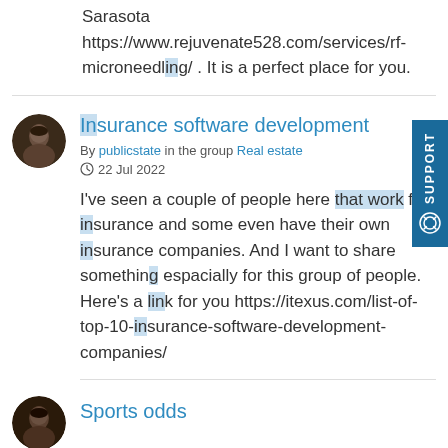Sarasota https://www.rejuvenate528.com/services/rf-microneedling/ . It is a perfect place for you.
Insurance software development
By publicstate in the group Real estate
22 Jul 2022
I've seen a couple of people here that work for insurance and some even have their own insurance companies. And I want to share something espacially for this group of people. Here's a link for you https://itexus.com/list-of-top-10-insurance-software-development-companies/
Sports odds